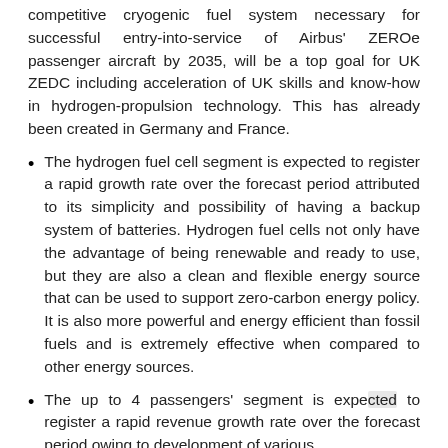competitive cryogenic fuel system necessary for successful entry-into-service of Airbus' ZEROe passenger aircraft by 2035, will be a top goal for UK ZEDC including acceleration of UK skills and know-how in hydrogen-propulsion technology. This has already been created in Germany and France.
The hydrogen fuel cell segment is expected to register a rapid growth rate over the forecast period attributed to its simplicity and possibility of having a backup system of batteries. Hydrogen fuel cells not only have the advantage of being renewable and ready to use, but they are also a clean and flexible energy source that can be used to support zero-carbon energy policy. It is also more powerful and energy efficient than fossil fuels and is extremely effective when compared to other energy sources.
The up to 4 passengers' segment is expected to register a rapid revenue growth rate over the forecast period owing to development of various